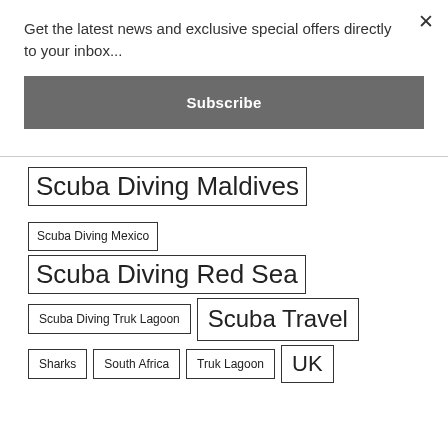Get the latest news and exclusive special offers directly to your inbox...
Subscribe
Scuba Diving Maldives
Scuba Diving Mexico
Scuba Diving Red Sea
Scuba Diving Truk Lagoon
Scuba Travel
Sharks
South Africa
Truk Lagoon
UK